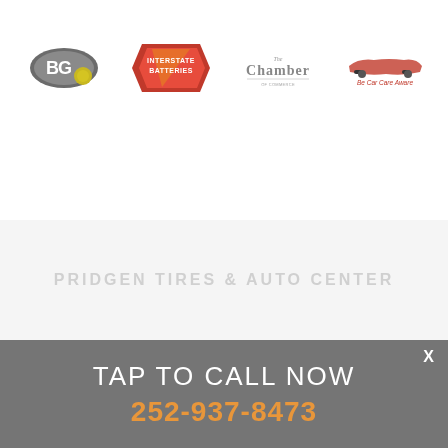[Figure (logo): BG Products logo - oval shaped with BG letters in grey on green/yellow background]
[Figure (logo): Interstate Batteries logo - orange flame shape with white text INTERSTATE BATTERIES]
[Figure (logo): The Chamber logo - grey text reading The Chamber]
[Figure (logo): Be Car Care Aware logo - red car silhouette with text Be Car Care Aware]
PRIDGEN TIRES & AUTO CENTER
X
TAP TO CALL NOW
252-937-8473